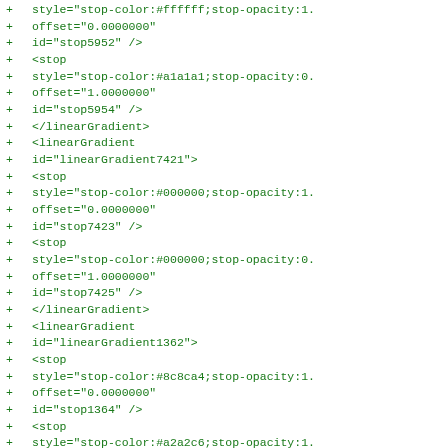Diff/code view showing SVG linearGradient XML additions with + markers in green monospace font
+     style="stop-color:#ffffff;stop-opacity:1.
+     offset="0.0000000"
+     id="stop5952" />
+   <stop
+     style="stop-color:#a1a1a1;stop-opacity:0.
+     offset="1.0000000"
+     id="stop5954" />
+   </linearGradient>
+   <linearGradient
+     id="linearGradient7421">
+   <stop
+     style="stop-color:#0000000;stop-opacity:1.
+     offset="0.0000000"
+     id="stop7423" />
+   <stop
+     style="stop-color:#0000000;stop-opacity:0.
+     offset="1.0000000"
+     id="stop7425" />
+   </linearGradient>
+   <linearGradient
+     id="linearGradient1362">
+   <stop
+     style="stop-color:#8c8ca4;stop-opacity:1.
+     offset="0.0000000"
+     id="stop1364" />
+   <stop
+     style="stop-color:#a2a2c6;stop-opacity:1.
+     offset="1.0000000"
+     id="stop1366" />
+   </linearGradient>
+   <linearGradient